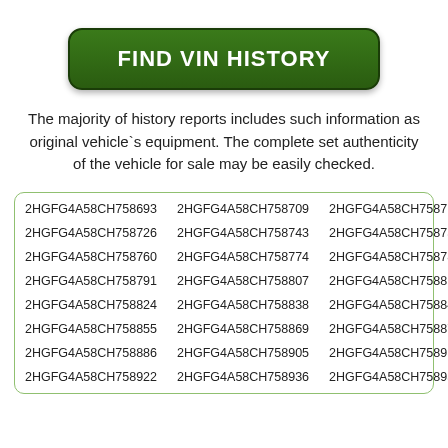[Figure (other): Green rounded button with text FIND VIN HISTORY]
The majority of history reports includes such information as original vehicle`s equipment. The complete set authenticity of the vehicle for sale may be easily checked.
| 2HGFG4A58CH758693 | 2HGFG4A58CH758709 | 2HGFG4A58CH758712 |
| 2HGFG4A58CH758726 | 2HGFG4A58CH758743 | 2HGFG4A58CH758757 |
| 2HGFG4A58CH758760 | 2HGFG4A58CH758774 | 2HGFG4A58CH758788 |
| 2HGFG4A58CH758791 | 2HGFG4A58CH758807 | 2HGFG4A58CH758810 |
| 2HGFG4A58CH758824 | 2HGFG4A58CH758838 | 2HGFG4A58CH758841 |
| 2HGFG4A58CH758855 | 2HGFG4A58CH758869 | 2HGFG4A58CH758872 |
| 2HGFG4A58CH758886 | 2HGFG4A58CH758905 | 2HGFG4A58CH758919 |
| 2HGFG4A58CH758922 | 2HGFG4A58CH758936 | 2HGFG4A58CH758953 |